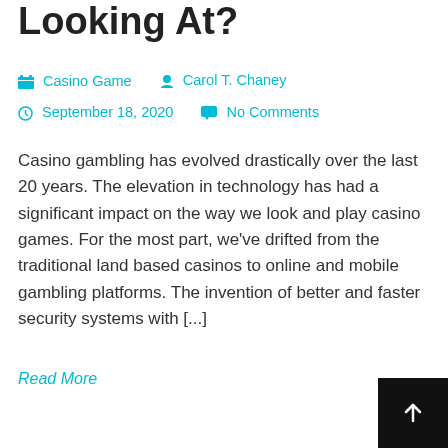Looking At?
Casino Game   Carol T. Chaney   September 18, 2020   No Comments
Casino gambling has evolved drastically over the last 20 years. The elevation in technology has had a significant impact on the way we look and play casino games. For the most part, we've drifted from the traditional land based casinos to online and mobile gambling platforms. The invention of better and faster security systems with [...]
Read More
[Figure (other): Back to top button — dark square with upward arrow icon in bottom-right corner]